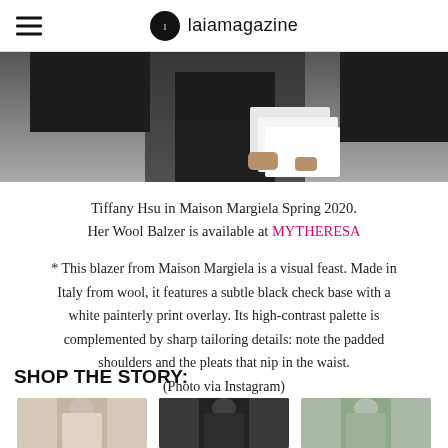laiamagazine
[Figure (photo): Cropped photo of a person wearing a dark blazer and holding white envelopes/papers, mid-body shot]
Tiffany Hsu in Maison Margiela Spring 2020. Her Wool Balzer is available at MYTHERESA
* This blazer from Maison Margiela is a visual feast. Made in Italy from wool, it features a subtle black check base with a white painterly print overlay. Its high-contrast palette is complemented by sharp tailoring details: note the padded shoulders and the pleats that nip in the waist. (Photo via Instagram)
SHOP THE STORY:
[Figure (photo): Product photo of a light beige/cream wool blazer on a model]
[Figure (photo): Product photo of a dark/black blazer on a model]
[Figure (photo): Product photo of a sage green/grey blazer on a model]